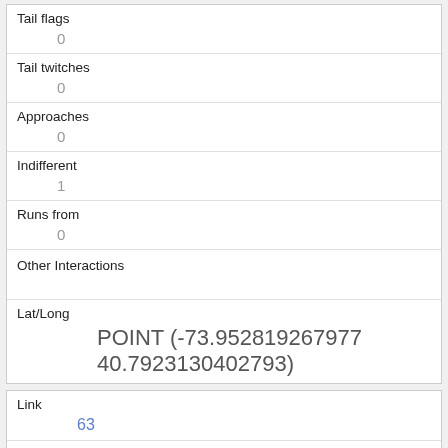| Tail flags | 0 |
| Tail twitches | 0 |
| Approaches | 0 |
| Indifferent | 1 |
| Runs from | 0 |
| Other Interactions |  |
| Lat/Long | POINT (-73.952819267977 40.7923130402793) |
| Link | 63 |
| rowid | 63 |
| longitude |  |